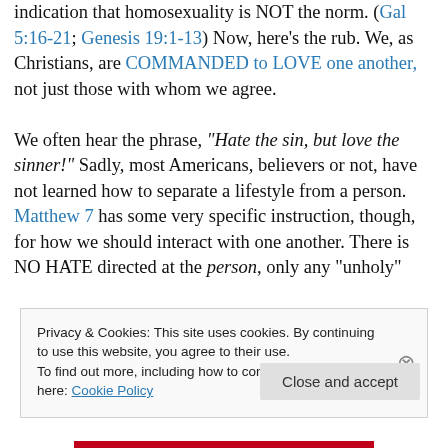indication that homosexuality is NOT the norm. (Gal 5:16-21; Genesis 19:1-13) Now, here's the rub. We, as Christians, are COMMANDED to LOVE one another, not just those with whom we agree.

We often hear the phrase, "Hate the sin, but love the sinner!" Sadly, most Americans, believers or not, have not learned how to separate a lifestyle from a person. Matthew 7 has some very specific instruction, though, for how we should interact with one another. There is NO HATE directed at the person, only any "unholy"
Privacy & Cookies: This site uses cookies. By continuing to use this website, you agree to their use.
To find out more, including how to control cookies, see here: Cookie Policy